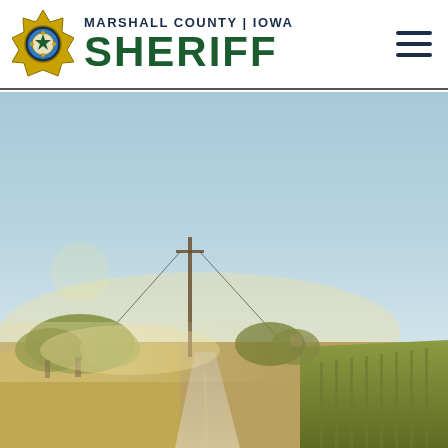MARSHALL COUNTY | IOWA SHERIFF
[Figure (photo): Rural Iowa road with corn fields, misty morning light, utility pole, trees in background under clear blue sky]